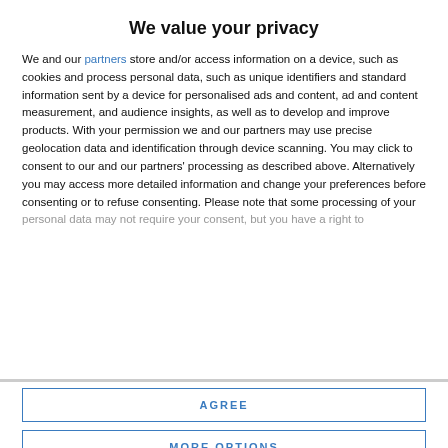We value your privacy
We and our partners store and/or access information on a device, such as cookies and process personal data, such as unique identifiers and standard information sent by a device for personalised ads and content, ad and content measurement, and audience insights, as well as to develop and improve products. With your permission we and our partners may use precise geolocation data and identification through device scanning. You may click to consent to our and our partners' processing as described above. Alternatively you may access more detailed information and change your preferences before consenting or to refuse consenting. Please note that some processing of your personal data may not require your consent, but you have a right to
AGREE
MORE OPTIONS
moving tribute to only son